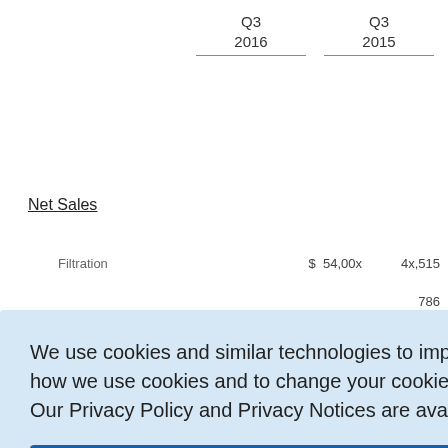|  | Q3 2016 | Q3 2015 |
| --- | --- | --- |
| Net Sales |  |  |
| Filtration | $  54,00x | 4x,515 |
|  |  | 786 |
|  |  | 945 |
|  |  | 345 |
|  |  | 191 |
We use cookies and similar technologies to improve our website. For more information on how we use cookies and to change your cookie preferences, see our Cookie Policy here. Our Privacy Policy and Privacy Notices are available here.
OK
EBIT